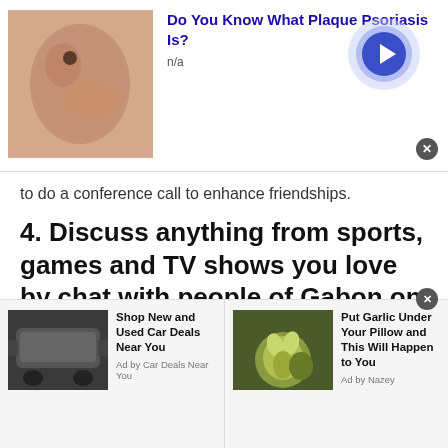[Figure (screenshot): Top advertisement banner with skin image and 'Do You Know What Plaque Psoriasis Is?' heading, n/a subtext, and a circular arrow navigation button]
to do a conference call to enhance friendships.
4. Discuss anything from sports, games and TV shows you love by chat with people of Gabon on TWS:
At Talkwithstranger, there is no restriction or limitation over the topic you can talk to. It does not matter what you want to discuss. You can discuss everything you desire. There are discussion sections
[Figure (screenshot): Bottom advertisement bar with two ads: 'Shop New and Used Car Deals Near You' by Car Deals Near You, and 'Put Garlic Under Your Pillow and This Will Happen to You' by Nazey]